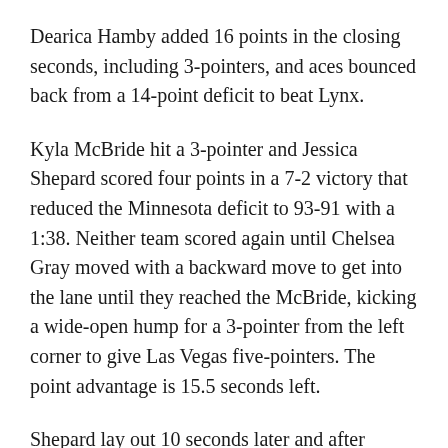Dearica Hamby added 16 points in the closing seconds, including 3-pointers, and aces bounced back from a 14-point deficit to beat Lynx.
Kyla McBride hit a 3-pointer and Jessica Shepard scored four points in a 7-2 victory that reduced the Minnesota deficit to 93-91 with a 1:38. Neither team scored again until Chelsea Gray moved with a backward move to get into the lane until they reached the McBride, kicking a wide-open hump for a 3-pointer from the left corner to give Las Vegas five-pointers. The point advantage is 15.5 seconds left.
Shepard lay out 10 seconds later and after making a gray turnover on the Inbounds pass, Shepard drove to medically be broken with an open back from